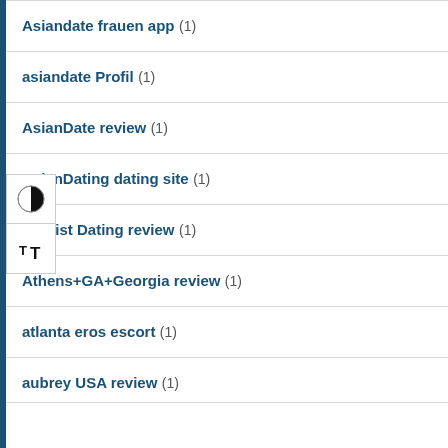Asiandate frauen app (1)
asiandate Profil (1)
AsianDate review (1)
AsianDating dating site (1)
Atheist Dating review (1)
Athens+GA+Georgia review (1)
atlanta eros escort (1)
aubrey USA review (1)